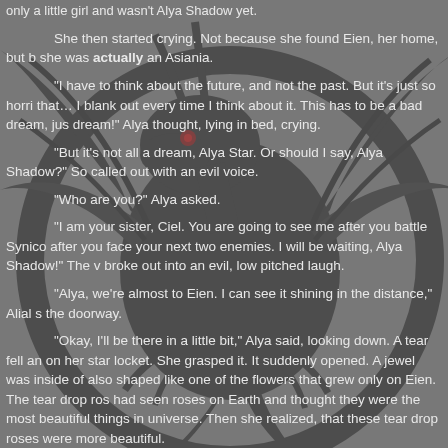only a little girl and wasn't Alya Shadow yet.
She then started crying. Not because she found Eien, her home, but because she was actually an Asiania.
"I have to think about the future, and not the past. But it's just so horri that… I blank out every time I think about it. This has to be a bad dream, just a dream!" Alya thought, lying in bed, crying.
"But it's not all a dream, Alya Star. Or should I say, Alya Shadow?" So called out with an evil voice.
"Who are you?" Alya asked.
"I am your sister, Ciel. You are going to see me after you battle Synico after you face your next two enemies. I will be waiting, Alya Shadow!" The v broke out into an evil, low pitched laugh.
"Alya, we're almost to Eien. I can see it shining in the distance," Alial s the doorway.
"Okay, I'll be there in a little bit," Alya said, looking down. A tear fell an on her star locket. She grasped it. It suddenly opened. A jewel was inside o also shaped like one of the flowers that grew only on Eien. The tear drop ros had seen roses on Earth and thought they were the most beautiful things in universe. Then she realized, that these tear drop roses were more beautiful.
"Alial, are we in range to go down?" Alya asked, coming in the control
"Yes, we are in orbit now. Can't you see it?" Alial asked.